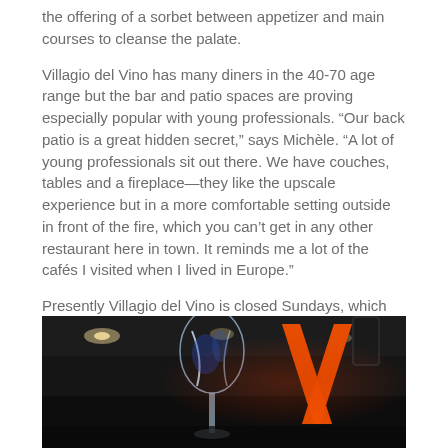the offering of a sorbet between appetizer and main courses to cleanse the palate.
Villagio del Vino has many diners in the 40-70 age range but the bar and patio spaces are proving especially popular with young professionals. “Our back patio is a great hidden secret,” says Michèle. “A lot of young professionals sit out there. We have couches, tables and a fireplace—they like the upscale experience but in a more comfortable setting outside in front of the fire, which you can’t get in any other restaurant here in town. It reminds me a lot of the cafés I visited when I lived in Europe.”
Presently Villagio del Vino is closed Sundays, which allows it to be reserved that day for special events and parties.The beautiful indoor space plus the intimate outdoor areas make it ideal for gatherings of any size. That means that potentially the kitchen, and some staff, run all week.
[Figure (photo): Interior of Villagio del Vino restaurant showing a wine glass in the foreground and an orange V-shaped logo illuminated on the back wall, with ambient ceiling lights visible]